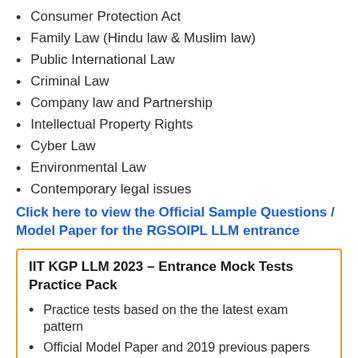Consumer Protection Act
Family Law (Hindu law & Muslim law)
Public International Law
Criminal Law
Company law and Partnership
Intellectual Property Rights
Cyber Law
Environmental Law
Contemporary legal issues
Click here to view the Official Sample Questions / Model Paper for the RGSOIPL LLM entrance
IIT KGP LLM 2023 – Entrance Mock Tests Practice Pack
Practice tests based on the the latest exam pattern
Official Model Paper and 2019 previous papers included among other tests